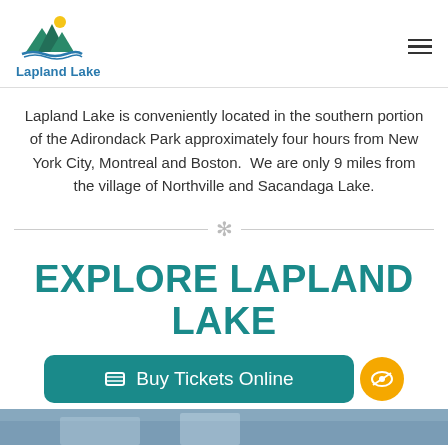Lapland Lake
Lapland Lake is conveniently located in the southern portion of the Adirondack Park approximately four hours from New York City, Montreal and Boston.  We are only 9 miles from the village of Northville and Sacandaga Lake.
[Figure (illustration): Snowflake divider icon centered between two horizontal lines]
EXPLORE LAPLAND LAKE
[Figure (infographic): Teal rounded button with ticket icon reading 'Buy Tickets Online' and a yellow circle eye icon on the right]
[Figure (photo): Partial photo at bottom showing a snowy outdoor scene]